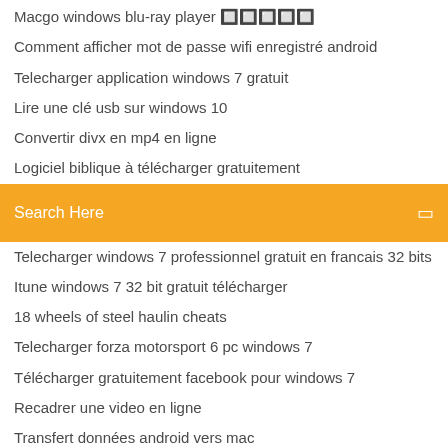Macgo windows blu-ray player 🔲🔲🔲🔲🔲
Comment afficher mot de passe wifi enregistré android
Telecharger application windows 7 gratuit
Lire une clé usb sur windows 10
Convertir divx en mp4 en ligne
Logiciel biblique à télécharger gratuitement
[Figure (screenshot): Orange search bar with text 'Search Here' and a small icon on the right]
Telecharger windows 7 professionnel gratuit en francais 32 bits
Itune windows 7 32 bit gratuit télécharger
18 wheels of steel haulin cheats
Telecharger forza motorsport 6 pc windows 7
Télécharger gratuitement facebook pour windows 7
Recadrer une video en ligne
Transfert données android vers mac
Telecharger utorrent 64 bits 2019
Code denregistrement reiboot gratuit 2019
Télécharger de la musique sur mac gratuitement